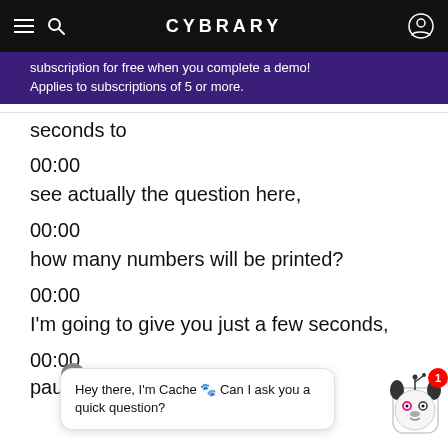CYBRARY
subscription for free when you complete a demo! Applies to subscriptions of 5 or more.
seconds to
00:00
see actually the question here,
00:00
how many numbers will be printed?
00:00
I'm going to give you just a few seconds,
00:00
pause the video, have a look
Hey there, I'm Cache 🐾 Can I ask you a quick question?